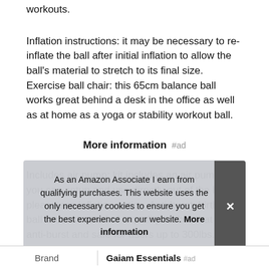workouts.
Inflation instructions: it may be necessary to re-inflate the ball after initial inflation to allow the ball's material to stretch to its final size. Exercise ball chair: this 65cm balance ball works great behind a desk in the office as well as at home as a yoga or stability workout ball.
More information #ad
Includes air pump: kit includes an air pump, so you can setup and use directly out of the box - please see inflation notice. Anti-burst: birthing ball is constructed of a quality rubber that is anti-burst and safe for users up to 300lbs. Inflate ball with air let s... heig...
As an Amazon Associate I earn from qualifying purchases. This website uses the only necessary cookies to ensure you get the best experience on our website. More information
| Brand | Value |
| --- | --- |
| Brand | Gaiam Essentials |